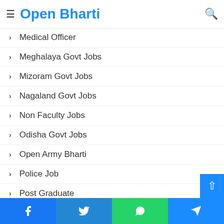Open Bharti
Medical Officer
Meghalaya Govt Jobs
Mizoram Govt Jobs
Nagaland Govt Jobs
Non Faculty Jobs
Odisha Govt Jobs
Open Army Bharti
Police Job
Post Graduate
Post Office Govt Jobs
Private Jobs
Facebook | Twitter | WhatsApp | Telegram